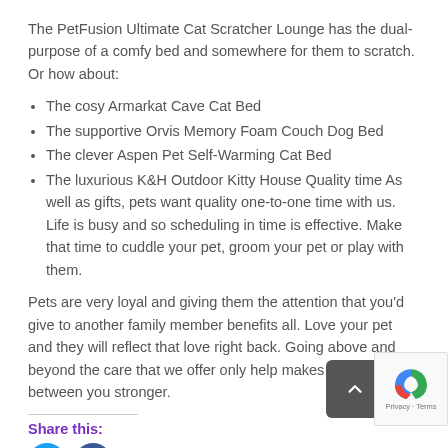The PetFusion Ultimate Cat Scratcher Lounge has the dual-purpose of a comfy bed and somewhere for them to scratch. Or how about:
The cosy Armarkat Cave Cat Bed
The supportive Orvis Memory Foam Couch Dog Bed
The clever Aspen Pet Self-Warming Cat Bed
The luxurious K&H Outdoor Kitty House Quality time As well as gifts, pets want quality one-to-one time with us. Life is busy and so scheduling in time is effective. Make that time to cuddle your pet, groom your pet or play with them.
Pets are very loyal and giving them the attention that you'd give to another family member benefits all. Love your pet and they will reflect that love right back. Going above and beyond the care that we offer only help makes the bond between you stronger.
Share this: